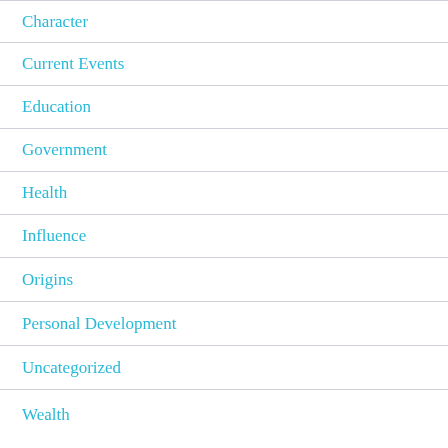Character
Current Events
Education
Government
Health
Influence
Origins
Personal Development
Uncategorized
Wealth